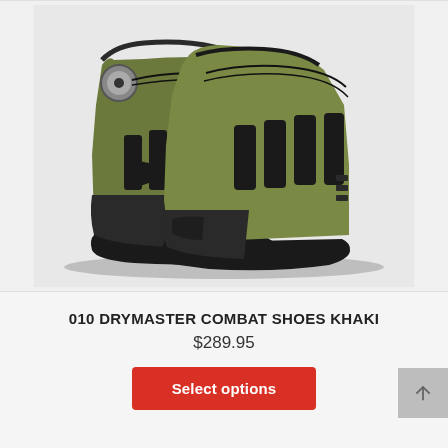[Figure (photo): A pair of khaki/olive green Drymaster Combat motorcycle boots with black accents, BOA lacing system dial, chunky black rubber soles, and protective toe caps. The boots are shown from a 3/4 angle on a light grey background.]
010 DRYMASTER COMBAT SHOES KHAKI
$289.95
Select options